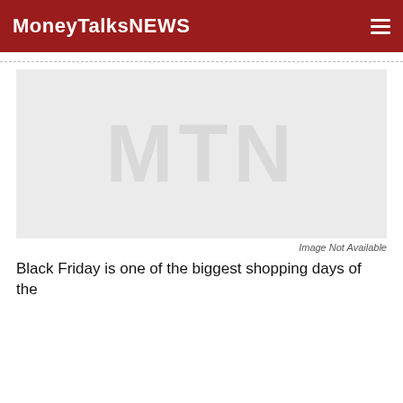MoneyTalksNews
[Figure (logo): MoneyTalksNews placeholder image with MTN watermark and 'Image Not Available' label]
Image Not Available
Black Friday is one of the biggest shopping days of the